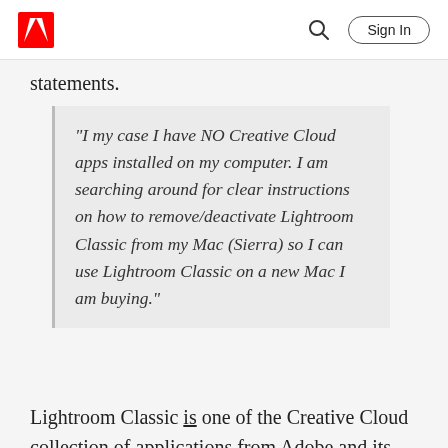Adobe | Sign In
statements.
"I my case I have NO Creative Cloud apps installed on my computer. I am searching around for clear instructions on how to remove/deactivate Lightroom Classic from my Mac (Sierra) so I can use Lightroom Classic on a new Mac I am buying."
Lightroom Classic is one of the Creative Cloud collection of applications from Adobe and its installation and operation as anything